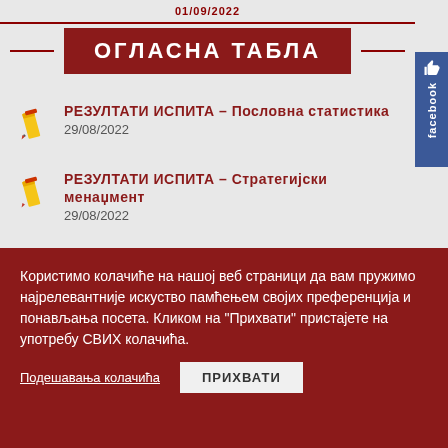01/09/2022
ОГЛАСНА ТАБЛА
РЕЗУЛТАТИ ИСПИТА – Пословна статистика
29/08/2022
РЕЗУЛТАТИ ИСПИТА – Стратегијски менаџмент
29/08/2022
Користимо колачиће на нашој веб страници да вам пружимо најрелевантније искуство памћењем својих преференција и понављања посета. Кликом на "Прихвати" пристајете на употребу СВИХ колачића.
Подешавања колачића   ПРИХВАТИ